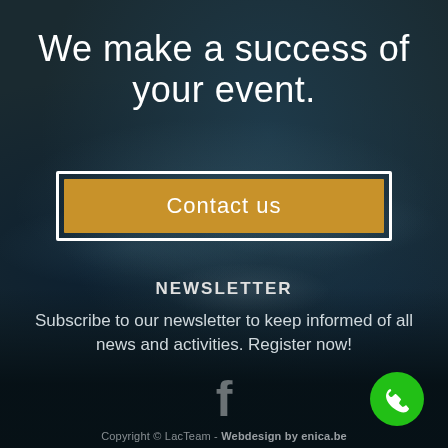We make a success of your event.
Contact us
NEWSLETTER
Subscribe to our newsletter to keep informed of all news and activities. Register now!
Copyright © LacTeam - Webdesign by enica.be